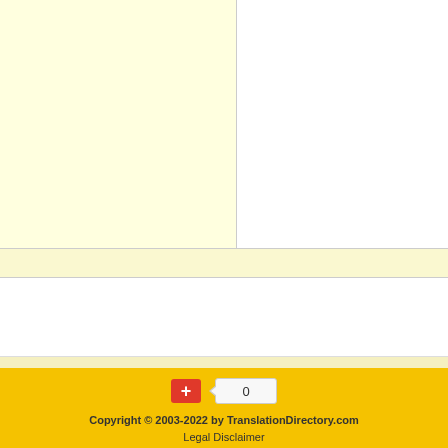[Figure (other): Two-column layout area: left panel with light yellow background, right panel with white background, separated by vertical line and horizontal rule]
[Figure (other): Banner with gold/amber background showing text 'Want more translation jobs?' with people working in background]
[Figure (other): Social sharing button: red plus/share button and a counter showing '0']
Copyright © 2003-2022 by TranslationDirectory.com
Legal Disclaimer
Site Map